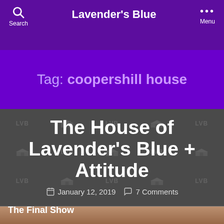Lavender's Blue
Tag: coopershill house
The House of Lavender's Blue + Attitude
January 12, 2019   7 Comments
The Final Show